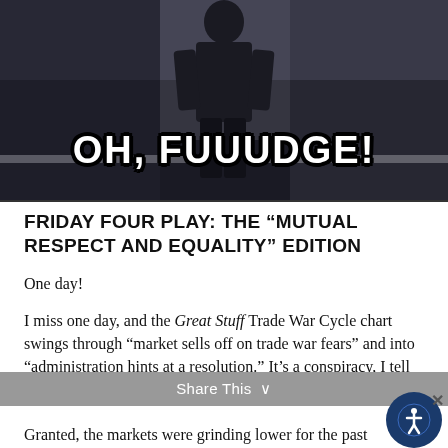[Figure (photo): Dark cinematic image of a person standing, with meme text overlay reading OH, FUUUDGE!]
FRIDAY FOUR PLAY: THE “MUTUAL RESPECT AND EQUALITY” EDITION
One day!
I miss one day, and the Great Stuff Trade War Cycle chart swings through “market sells off on trade war fears” and into “administration hints at a resolution.” It’s a conspiracy, I tell you.
Granted, the markets were grinding lower for the past